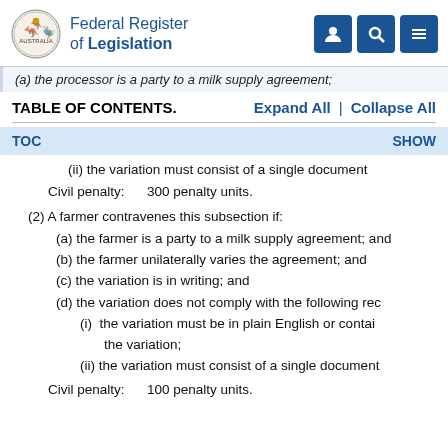Federal Register of Legislation
(a) the processor is a party to a milk supply agreement;
TABLE OF CONTENTS.
Expand All | Collapse All
TOC   SHOW
(ii) the variation must consist of a single document
Civil penalty:   300 penalty units.
(2) A farmer contravenes this subsection if:
(a) the farmer is a party to a milk supply agreement; and
(b) the farmer unilaterally varies the agreement; and
(c) the variation is in writing; and
(d) the variation does not comply with the following rec
(i) the variation must be in plain English or contai the variation;
(ii) the variation must consist of a single document
Civil penalty:   100 penalty units.